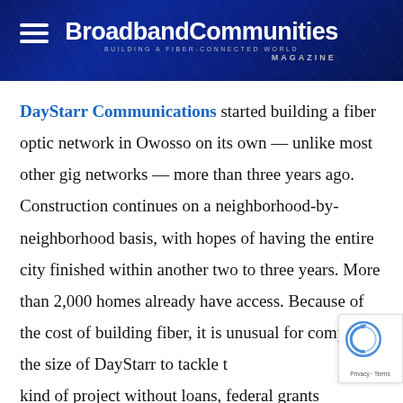BroadbandCommunities MAGAZINE — BUILDING A FIBER-CONNECTED WORLD
DayStarr Communications started building a fiber optic network in Owosso on its own — unlike most other gig networks — more than three years ago. Construction continues on a neighborhood-by-neighborhood basis, with hopes of having the entire city finished within another two to three years. More than 2,000 homes already have access. Because of the cost of building fiber, it is unusual for companies the size of DayStarr to tackle this kind of project without loans, federal grants